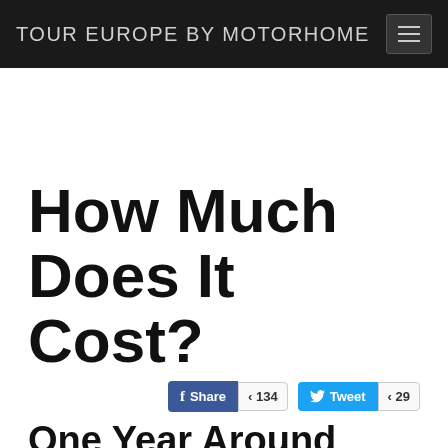TOUR EUROPE BY MOTORHOME
How Much Does It Cost?
[Figure (other): Social share buttons: Facebook Share (134) and Tweet (29)]
One Year Around Europe
We decided to motorhome around Europe for our 2013-2014 adventure, making the most of the summer weather in Scandinavia, then heading south for the winter sun. Our camper travels took us through the